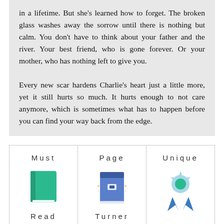in a lifetime. But she's learned how to forget. The broken glass washes away the sorrow until there is nothing but calm. You don't have to think about your father and the river. Your best friend, who is gone forever. Or your mother, who has nothing left to give you.

Every new scar hardens Charlie's heart just a little more, yet it still hurts so much. It hurts enough to not care anymore, which is sometimes what has to happen before you can find your way back from the edge.
[Figure (illustration): Three badge/award cards side by side: 'Must Read' with a green book icon, 'Page Turner' with a blue book icon, and 'Unique' with a teal and blue ribbon/award icon.]